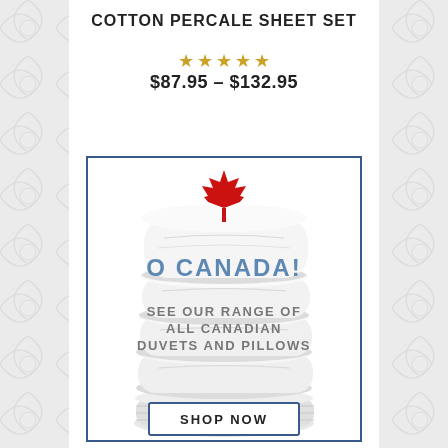COTTON PERCALE SHEET SET
★★★★★
$87.95 – $132.95
[Figure (illustration): Advertisement banner with stacked white pillows and duvet, a red maple leaf at top, text reading 'O CANADA! SEE OUR RANGE OF ALL CANADIAN DUVETS AND PILLOWS', and a 'SHOP NOW' button at the bottom. Bordered in dark blue.]